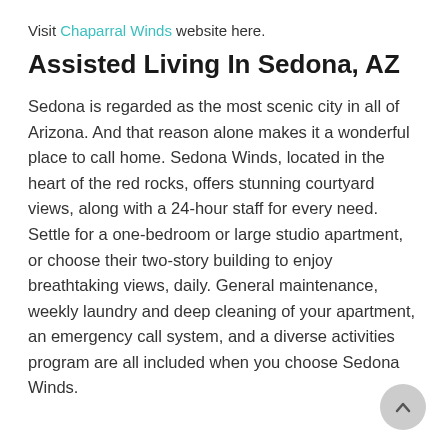Visit Chaparral Winds website here.
Assisted Living In Sedona, AZ
Sedona is regarded as the most scenic city in all of Arizona. And that reason alone makes it a wonderful place to call home. Sedona Winds, located in the heart of the red rocks, offers stunning courtyard views, along with a 24-hour staff for every need. Settle for a one-bedroom or large studio apartment, or choose their two-story building to enjoy breathtaking views, daily. General maintenance, weekly laundry and deep cleaning of your apartment, an emergency call system, and a diverse activities program are all included when you choose Sedona Winds.